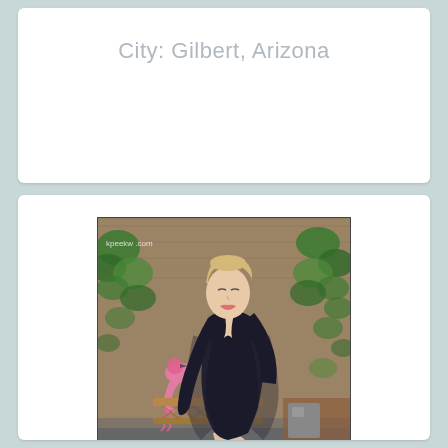City: Gilbert, Arizona
[Figure (photo): A woman with short blonde hair wearing a black sheer bodysuit, seated on a wicker/rattan chair outdoors against a bamboo/straw wall background with green ivy. A pink flamingo decoration is visible in the background. The photo has watermarks reading 'kpeekw...com' at the top and partially visible text at the bottom.]